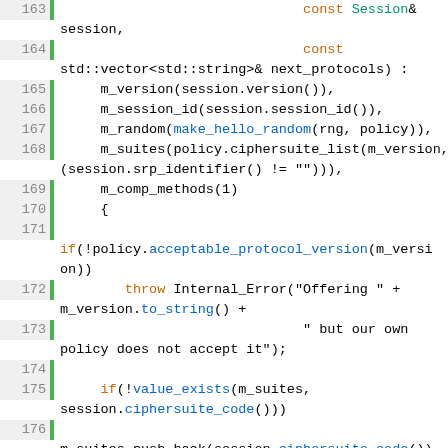[Figure (screenshot): Source code listing showing C++ code lines 163–183, syntax highlighted with line numbers and a green vertical bar indicator. Code includes session constructor initialization list, protocol version check throwing Internal_Error, cipher suite handling, and comment about EMS extension.]